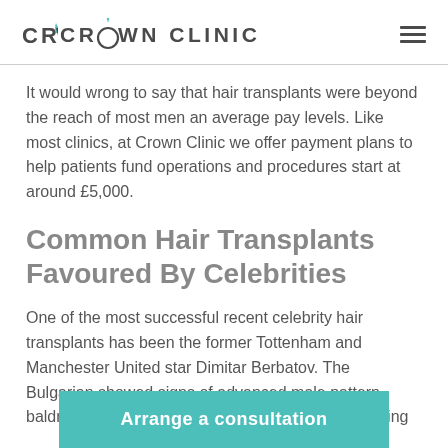CROWN CLINIC
It would wrong to say that hair transplants were beyond the reach of most men an average pay levels. Like most clinics, at Crown Clinic we offer payment plans to help patients fund operations and procedures start at around £5,000.
Common Hair Transplants Favoured By Celebrities
One of the most successful recent celebrity hair transplants has been the former Tottenham and Manchester United star Dimitar Berbatov. The Bulgarian showed signs of advanced male pattern baldness around his temples while he was still playing
Arrange a consultation